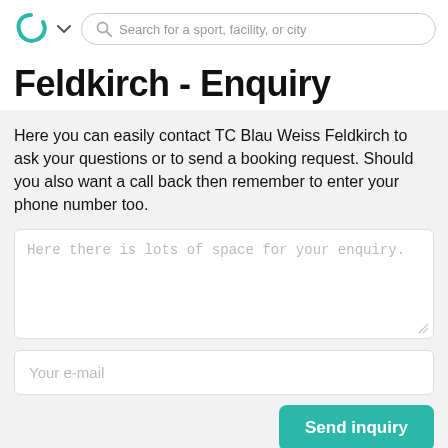Search for a sport, facility, or city
Feldkirch - Enquiry
Here you can easily contact TC Blau Weiss Feldkirch to ask your questions or to send a booking request. Should you also want a call back then remember to enter your phone number too.
Here there is lots of space for your enquiry.
Your e-mail
Send inquiry